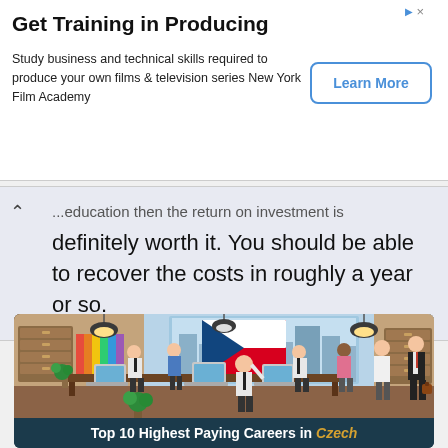[Figure (infographic): Advertisement banner for New York Film Academy with 'Get Training in Producing' headline, body text, and Learn More button]
Get Training in Producing
Study business and technical skills required to produce your own films & television series New York Film Academy
definitely worth it. You should be able to recover the costs in roughly a year or so.
[Figure (illustration): Cartoon office scene with multiple workers at desks, Czech Republic flag in the background, filing cabinets, pendant lights, and city view through windows]
Top 10 Highest Paying Careers in Czech